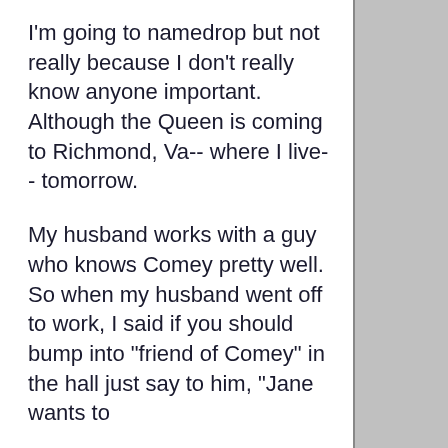I'm going to namedrop but not really because I don't really know anyone important. Although the Queen is coming to Richmond, Va-- where I live-- tomorrow.
My husband works with a guy who knows Comey pretty well. So when my husband went off to work, I said if you should bump into "friend of Comey" in the hall just say to him, "Jane wants to